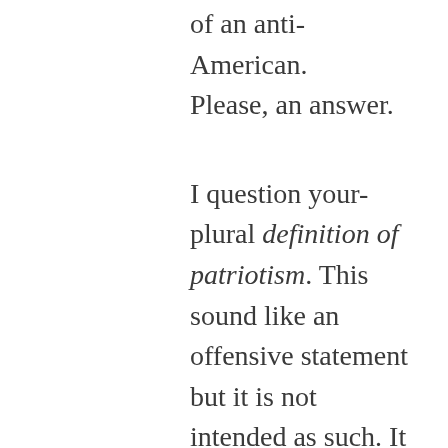of an anti-American. Please, an answer.
I question your-plural definition of patriotism. This sound like an offensive statement but it is not intended as such. It is a necessary and a genuine question. But it is not one that I expect you to answer. I expect